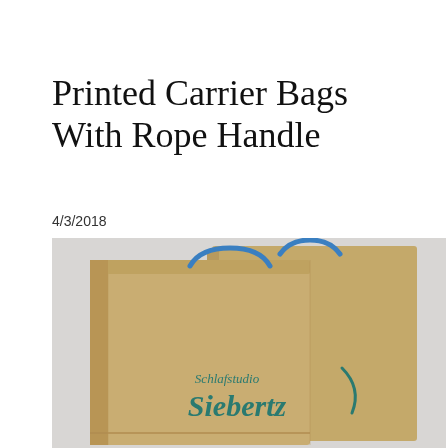Printed Carrier Bags With Rope Handle
4/3/2018
[Figure (photo): Two kraft paper carrier bags with blue rope handles, printed with the 'Schlafstudio Siebertz' logo in teal/dark green on the front, photographed on a light grey background.]